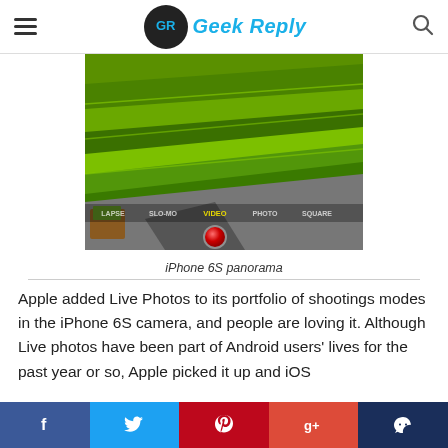Geek Reply
[Figure (photo): iPhone 6S camera interface showing green terraced fields with camera mode bar (LAPSE, SLO-MO, VIDEO selected in yellow, PHOTO, SQUARE) and red shutter button]
iPhone 6S panorama
Apple added Live Photos to its portfolio of shootings modes in the iPhone 6S camera, and people are loving it. Although Live photos have been part of Android users' lives for the past year or so, Apple picked it up and iOS